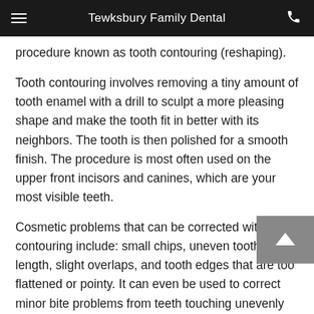Tewksbury Family Dental
procedure known as tooth contouring (reshaping).
Tooth contouring involves removing a tiny amount of tooth enamel with a drill to sculpt a more pleasing shape and make the tooth fit in better with its neighbors. The tooth is then polished for a smooth finish. The procedure is most often used on the upper front incisors and canines, which are your most visible teeth.
Cosmetic problems that can be corrected with tooth contouring include: small chips, uneven tooth length, slight overlaps, and tooth edges that are too flattened or pointy. It can even be used to correct minor bite problems from teeth touching unevenly during contact. Conversely, your teeth should not be reshaped if any bite imbalances could result from it. In that case, one of